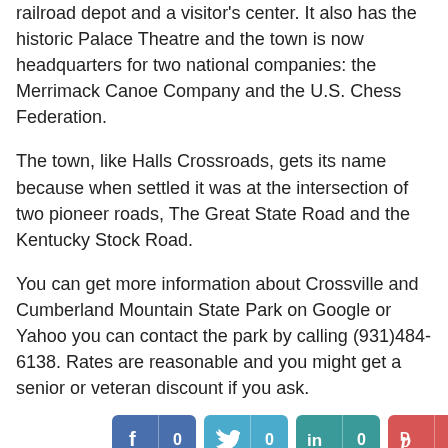railroad depot and a visitor's center. It also has the historic Palace Theatre and the town is now headquarters for two national companies: the Merrimack Canoe Company and the U.S. Chess Federation.
The town, like Halls Crossroads, gets its name because when settled it was at the intersection of two pioneer roads, The Great State Road and the Kentucky Stock Road.
You can get more information about Crossville and Cumberland Mountain State Park on Google or Yahoo you can contact the park by calling (931)484-6138. Rates are reasonable and you might get a senior or veteran discount if you ask.
[Figure (infographic): Social sharing buttons row: Facebook (f | 0), Twitter (bird icon | 0), LinkedIn (in | 0), Pinterest (P | 0), plus a partial second row with green, gray, and teal buttons.]